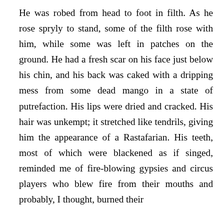He was robed from head to foot in filth. As he rose spryly to stand, some of the filth rose with him, while some was left in patches on the ground. He had a fresh scar on his face just below his chin, and his back was caked with a dripping mess from some dead mango in a state of putrefaction. His lips were dried and cracked. His hair was unkempt; it stretched like tendrils, giving him the appearance of a Rastafarian. His teeth, most of which were blackened as if singed, reminded me of fire-blowing gypsies and circus players who blew fire from their mouths and probably, I thought, burned their